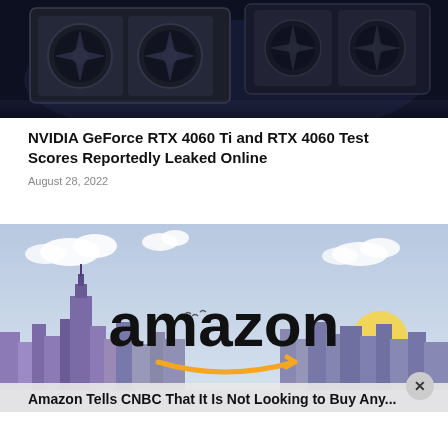[Figure (photo): Photo of NVIDIA GeForce RTX 4060 Ti graphics card, dark background, showing triple fan cooler design]
NVIDIA GeForce RTX 4060 Ti and RTX 4060 Test Scores Reportedly Leaked Online
August 28, 2022
[Figure (illustration): Amazon logo illustration with city skyline background, purple and light blue sky, clouds, and sun]
Amazon Tells CNBC That It Is Not Looking to Buy Any...